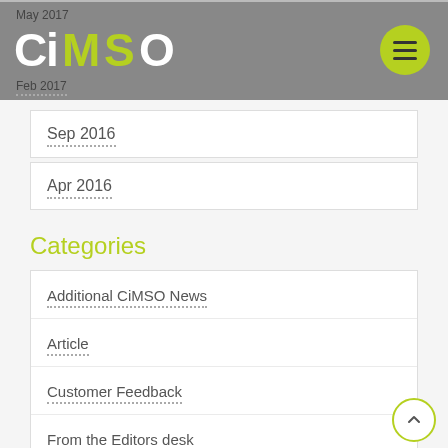May 2017 CiMSO Feb 2017
Sep 2016
Apr 2016
Categories
Additional CiMSO News
Article
Customer Feedback
From the Editors desk